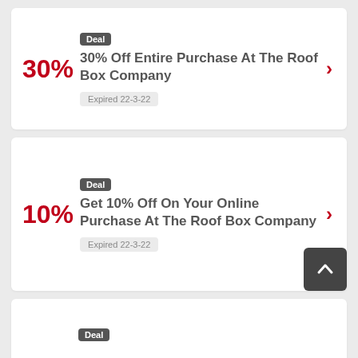30%
Deal
30% Off Entire Purchase At The Roof Box Company
Expired 22-3-22
10%
Deal
Get 10% Off On Your Online Purchase At The Roof Box Company
Expired 22-3-22
Deal